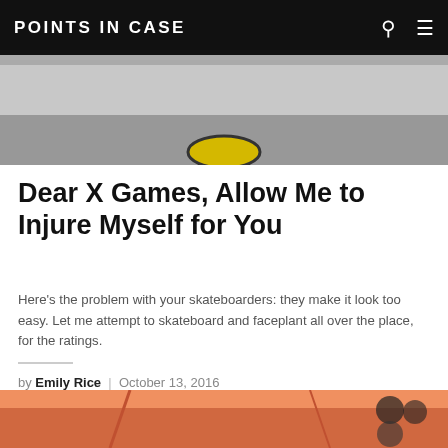POINTS IN CASE
[Figure (photo): Top portion of a skateboard close-up, grayscale photo]
Dear X Games, Allow Me to Injure Myself for You
Here's the problem with your skateboarders: they make it look too easy. Let me attempt to skateboard and faceplant all over the place, for the ratings.
by Emily Rice | October 13, 2016
[Figure (photo): Person at a microphone with arms raised against an orange/pink sunset sky, skateboard wheels visible on right]